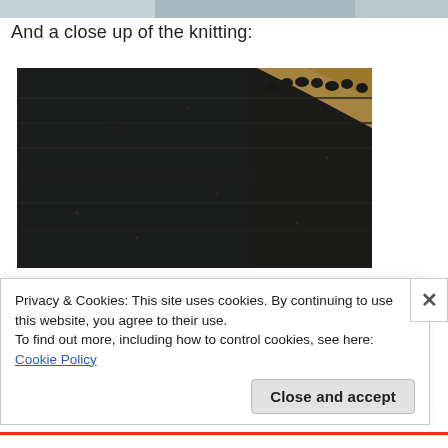[Figure (photo): Partial top strip showing top of previous image with people/knitting]
And a close up of the knitting:
[Figure (photo): Close-up macro photograph of dark charcoal/black knitted fabric texture showing stitch detail, with a small yellowish/beige area visible in top right corner]
Privacy & Cookies: This site uses cookies. By continuing to use this website, you agree to their use.
To find out more, including how to control cookies, see here: Cookie Policy
Close and accept